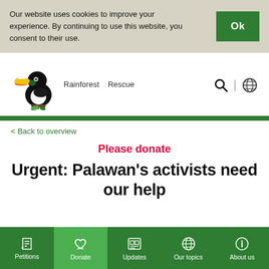Our website uses cookies to improve your experience. By continuing to use this website, you consent to their use.
Ok
[Figure (logo): Rainforest Rescue logo with toucan bird and text 'Rainforest Rescue']
[Figure (other): Search icon and globe/language icon in navigation bar]
< Back to overview
Please donate
Urgent: Palawan's activists need our help
Petitions | Donate | Updates | Our topics | About us